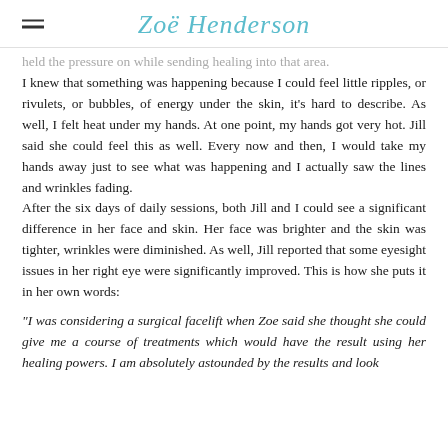Zoë Henderson
held the pressure on while sending healing into that area.
I knew that something was happening because I could feel little ripples, or rivulets, or bubbles, of energy under the skin, it's hard to describe. As well, I felt heat under my hands. At one point, my hands got very hot. Jill said she could feel this as well. Every now and then, I would take my hands away just to see what was happening and I actually saw the lines and wrinkles fading.
After the six days of daily sessions, both Jill and I could see a significant difference in her face and skin. Her face was brighter and the skin was tighter, wrinkles were diminished. As well, Jill reported that some eyesight issues in her right eye were significantly improved. This is how she puts it in her own words:
"I was considering a surgical facelift when Zoe said she thought she could give me a course of treatments which would have the result using her healing powers. I am absolutely astounded by the results and look